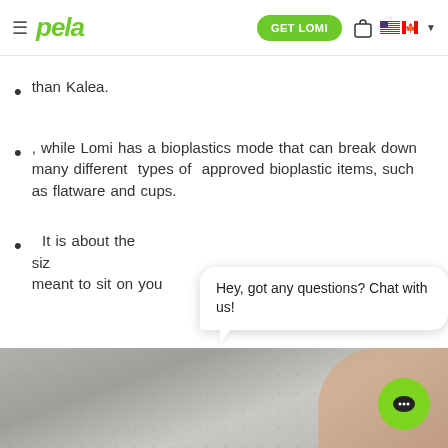pela | GET LOMI
than Kalea.
, while Lomi has a bioplastics mode that can break down many different types of approved bioplastic items, such as flatware and cups.
It is about the siz[e] ... meant to sit on you[r countertop]
Hey, got any questions? Chat with us!
[Figure (photo): Bottom portion showing a concrete surface with a hand holding something, partially obscured by a chat widget]